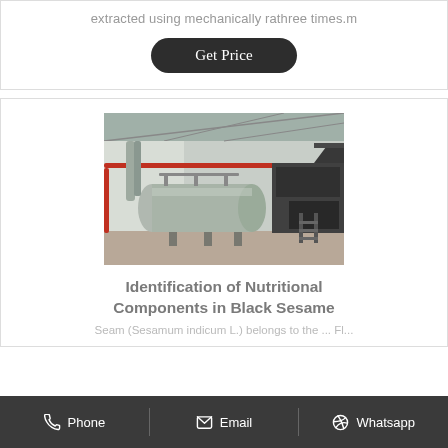extracted using mechanically rathree times.m
Get Price
[Figure (photo): Industrial machinery inside a factory building — large horizontal pressure vessels/tanks with pipes, red pipe running along wall, black machinery/conveyor equipment on the right side, concrete floor, metal roof structure visible.]
Identification of Nutritional Components in Black Sesame
Seam (Sesamum indicum L.) belongs to the ... Fl...
Phone   Email   Whatsapp